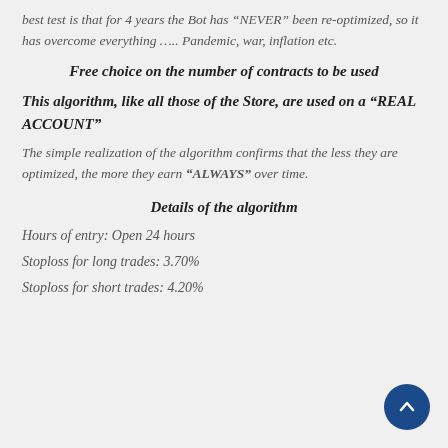best test is that for 4 years the Bot has “NEVER” been re-optimized, so it has overcome everything ….. Pandemic, war, inflation etc.
Free choice on the number of contracts to be used
This algorithm, like all those of the Store, are used on a “REAL ACCOUNT”
The simple realization of the algorithm confirms that the less they are optimized, the more they earn “ALWAYS” over time.
Details of the algorithm
Hours of entry: Open 24 hours
Stoploss for long trades: 3.70%
Stoploss for short trades: 4.20%